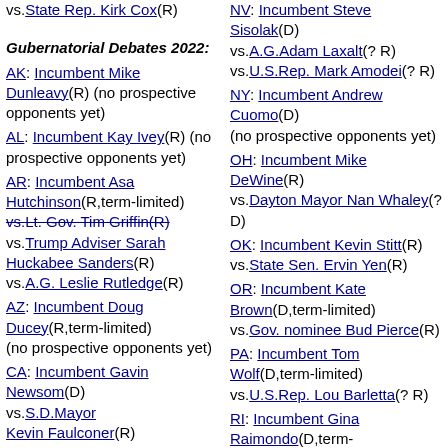vs.State Rep. Kirk Cox(R)
Gubernatorial Debates 2022:
AK: Incumbent Mike Dunleavy(R) (no prospective opponents yet)
AL: Incumbent Kay Ivey(R) (no prospective opponents yet)
AR: Incumbent Asa Hutchinson(R,term-limited) vs.Lt. Gov. Tim Griffin(R) vs.Trump Adviser Sarah Huckabee Sanders(R) vs.A.G. Leslie Rutledge(R)
AZ: Incumbent Doug Ducey(R,term-limited) (no prospective opponents yet)
CA: Incumbent Gavin Newsom(D) vs.S.D.Mayor Kevin Faulconer(R)
NV: Incumbent Steve Sisolak(D) vs.A.G.Adam Laxalt(? R) vs.U.S.Rep. Mark Amodei(? R)
NY: Incumbent Andrew Cuomo(D) (no prospective opponents yet)
OH: Incumbent Mike DeWine(R) vs.Dayton Mayor Nan Whaley(? D)
OK: Incumbent Kevin Stitt(R) vs.State Sen. Ervin Yen(R)
OR: Incumbent Kate Brown(D,term-limited) vs.Gov. nominee Bud Pierce(R)
PA: Incumbent Tom Wolf(D,term-limited) vs.U.S.Rep. Lou Barletta(? R)
RI: Incumbent Gina Raimondo(D,term-